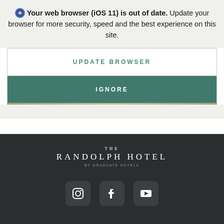🧭 Your web browser (iOS 11) is out of date. Update your browser for more security, speed and the best experience on this site.
UPDATE BROWSER
IGNORE
[Figure (logo): The Randolph Hotel by Graduate Hotels logo in white text on dark background]
[Figure (infographic): Three social media icons: Instagram, Facebook, YouTube in rounded square boxes on dark background]